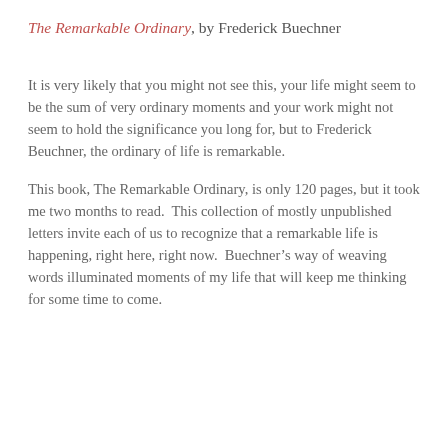The Remarkable Ordinary, by Frederick Buechner
It is very likely that you might not see this, your life might seem to be the sum of very ordinary moments and your work might not seem to hold the significance you long for, but to Frederick Beuchner, the ordinary of life is remarkable.
This book, The Remarkable Ordinary, is only 120 pages, but it took me two months to read.  This collection of mostly unpublished letters invite each of us to recognize that a remarkable life is happening, right here, right now.  Buechner’s way of weaving words illuminated moments of my life that will keep me thinking for some time to come.